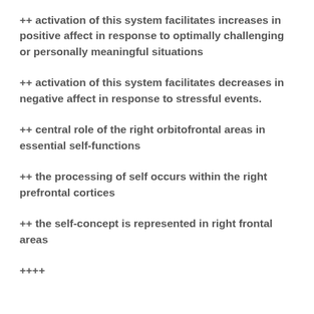++ activation of this system facilitates increases in positive affect in response to optimally challenging or personally meaningful situations
++ activation of this system facilitates decreases in negative affect in response to stressful events.
++ central role of the right orbitofrontal areas in essential self-functions
++ the processing of self occurs within the right prefrontal cortices
++ the self-concept is represented in right frontal areas
++++